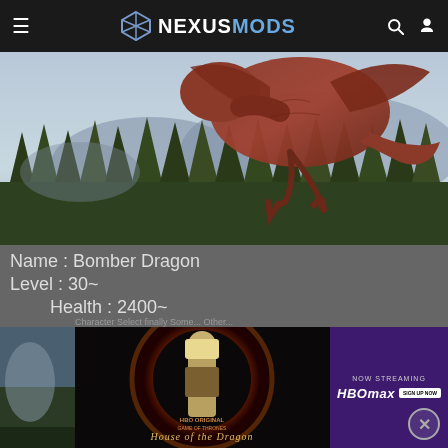NexusMods navigation bar
[Figure (screenshot): Dragon from Skyrim mod hovering over a forest landscape, reddish-brown dragon with wings spread, pine trees and mountains in background]
Name : Bomber Dragon
Level : 30~
    Health : 2400~
[Figure (photo): HBO Original Game of Thrones House of the Dragon advertisement showing Daemon Targaryen character surrounded by fire, with HBO Max Now Streaming branding on purple background]